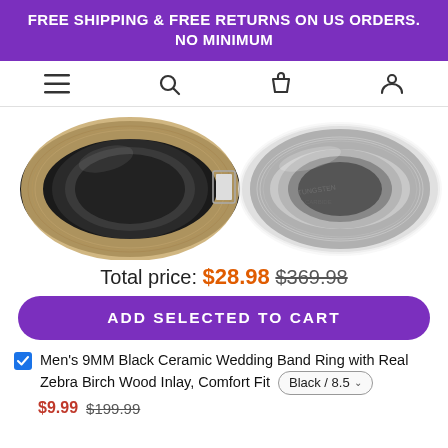FREE SHIPPING & FREE RETURNS ON US ORDERS. NO MINIMUM
[Figure (screenshot): Navigation bar with hamburger menu, search, cart, and user account icons]
[Figure (photo): Two product ring images side by side: left is a black ceramic ring with zebra birch wood inlay, right is a silver tungsten carbide ring with brushed finish]
Total price: $28.98  $369.98
ADD SELECTED TO CART
Men's 9MM Black Ceramic Wedding Band Ring with Real Zebra Birch Wood Inlay, Comfort Fit  Black / 8.5
$9.99  $199.99